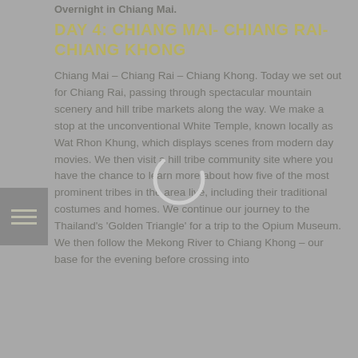Overnight in Chiang Mai.
DAY 4: CHIANG MAI- CHIANG RAI- CHIANG KHONG
Chiang Mai – Chiang Rai – Chiang Khong. Today we set out for Chiang Rai, passing through spectacular mountain scenery and hill tribe markets along the way. We make a stop at the unconventional White Temple, known locally as Wat Rhon Khung, which displays scenes from modern day movies. We then visit a hill tribe community site where you have the chance to learn more about how five of the most prominent tribes in the area live, including their traditional costumes and homes. We continue our journey to the Thailand's 'Golden Triangle' for a trip to the Opium Museum. We then follow the Mekong River to Chiang Khong – our base for the evening before crossing into